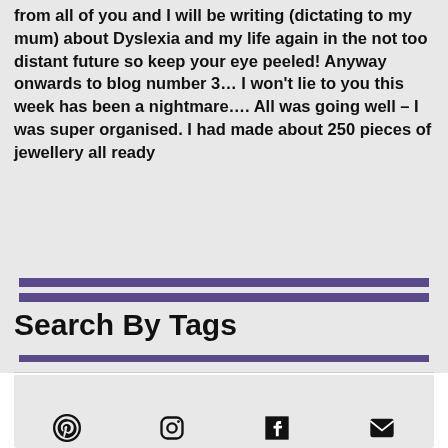from all of you and I will be writing (dictating to my mum) about Dyslexia and my life again in the not too distant future so keep your eye peeled! Anyway onwards to blog number 3… I won't lie to you this week has been a nightmare…. All was going well – I was super organised. I had made about 250 pieces of jewellery all ready
Search By Tags